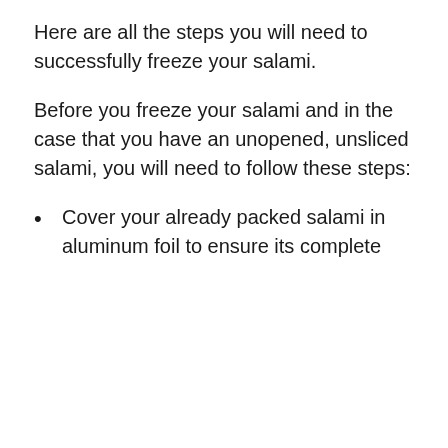Here are all the steps you will need to successfully freeze your salami.
Before you freeze your salami and in the case that you have an unopened, unsliced salami, you will need to follow these steps:
Cover your already packed salami in aluminum foil to ensure its complete